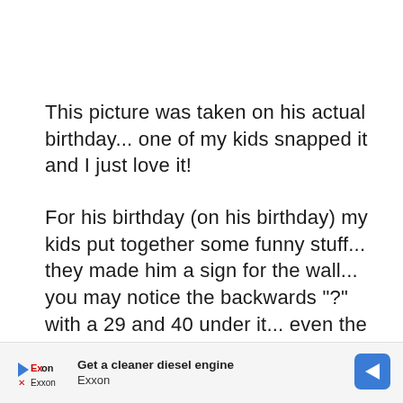This picture was taken on his actual birthday... one of my kids snapped it and I just love it!
For his birthday (on his birthday) my kids put together some funny stuff... they made him a sign for the wall... you may notice the backwards "?" with a 29 and 40 under it... even the kiddos think it's funny
[Figure (other): Exxon advertisement banner: 'Get a cleaner diesel engine' with Exxon logo and blue arrow road sign icon]